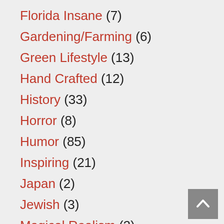Florida Insane (7)
Gardening/Farming (6)
Green Lifestyle (13)
Hand Crafted (12)
History (33)
Horror (8)
Humor (85)
Inspiring (21)
Japan (2)
Jewish (3)
Magical Realism (2)
Museum of Curiosity (3)
Museums (5)
Mystery (64)